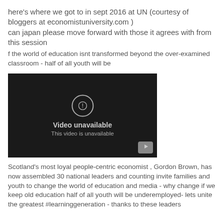here's where we got to in sept 2016 at UN (courtesy of bloggers at economistuniversity.com )
can japan please move forward with those it agrees with from this session
f the world of education isnt transformed beyond the over-examined classroom - half of all youth will be
[Figure (screenshot): Embedded YouTube video player showing 'Video unavailable - This video is unavailable' message on a dark background with a YouTube play button icon in the bottom right corner.]
Scotland's most loyal people-centric economist , Gordon Brown, has now assembled 30 national leaders and counting invite families and youth to change the world of education and media - why change if we keep old education half of all youth will be underemployed- lets unite the greatest #learninggeneration - thanks to these leaders